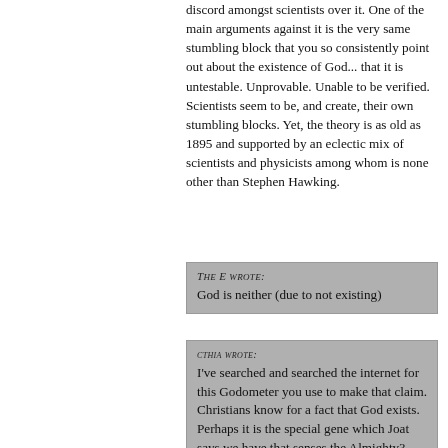discord amongst scientists over it. One of the main arguments against it is the very same stumbling block that you so consistently point out about the existence of God... that it is untestable. Unprovable. Unable to be verified. Scientists seem to be, and create, their own stumbling blocks. Yet, the theory is as old as 1895 and supported by an eclectic mix of scientists and physicists among whom is none other than Stephen Hawking.
THE E WROTE: God is neither (due to not existing)
CTHIA WROTE: I've searched and searched the internet for this Godometer you use to make that claim. Christians know for a fact that God exists. Perhaps it is the special gene which Joat says we have that senses the Almighty?